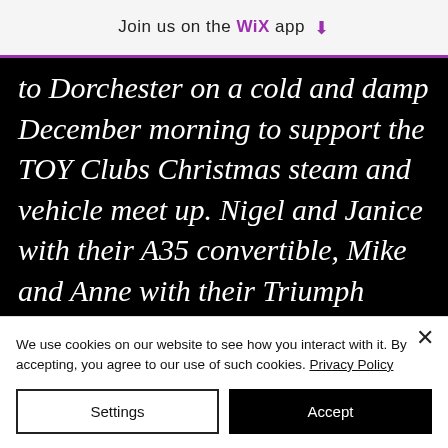Join us on the WiX app ↓
to Dorchester on a cold and damp December morning to support the TOY Clubs Christmas steam and vehicle meet up. Nigel and Janice with their A35 convertible, Mike and Anne with their Triumph Stag, Colin and Ruth with their 2 CV. Rob, Teresa and myself travelled in
We use cookies on our website to see how you interact with it. By accepting, you agree to our use of such cookies. Privacy Policy
Settings
Accept